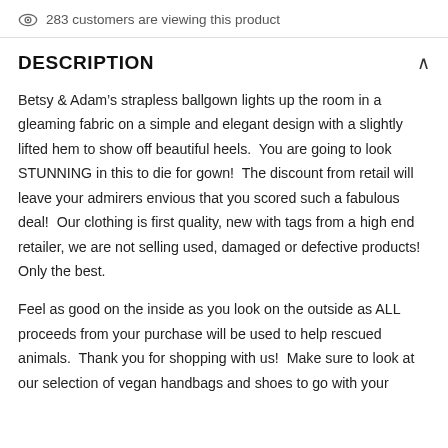283 customers are viewing this product
DESCRIPTION
Betsy & Adam's strapless ballgown lights up the room in a gleaming fabric on a simple and elegant design with a slightly lifted hem to show off beautiful heels.  You are going to look STUNNING in this to die for gown!  The discount from retail will leave your admirers envious that you scored such a fabulous deal!  Our clothing is first quality, new with tags from a high end retailer, we are not selling used, damaged or defective products!  Only the best.
Feel as good on the inside as you look on the outside as ALL proceeds from your purchase will be used to help rescued animals.  Thank you for shopping with us!  Make sure to look at our selection of vegan handbags and shoes to go with your